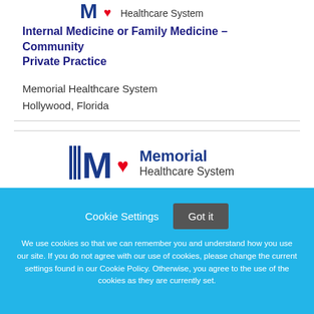[Figure (logo): Memorial Healthcare System logo partially cropped at top of page]
Internal Medicine or Family Medicine – Community Private Practice
Memorial Healthcare System
Hollywood, Florida
[Figure (logo): Memorial Healthcare System full logo with stylized M, red heart, and text]
Cookie Settings   Got it
We use cookies so that we can remember you and understand how you use our site. If you do not agree with our use of cookies, please change the current settings found in our Cookie Policy. Otherwise, you agree to the use of the cookies as they are currently set.